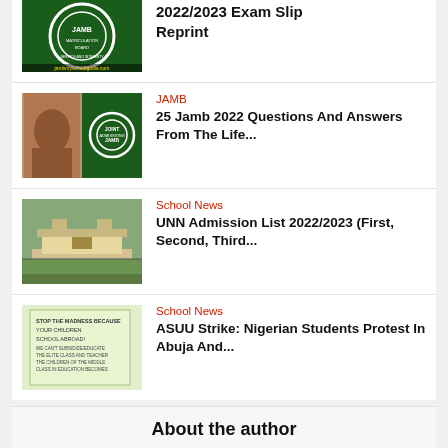[Figure (photo): JAMB logo on green background with 'jambmyschoolgodie.com' watermark, partially visible at top]
2022/2023 Exam Slip Reprint
[Figure (photo): Two images side by side: a person's face and JAMB Joint Admissions logo]
JAMB
25 Jamb 2022 Questions And Answers From The Life...
[Figure (photo): University of Nigeria Nsukka gate entrance photo]
School News
UNN Admission List 2022/2023 (First, Second, Third...
[Figure (photo): Protest sign reading 'Stop the madness because your children study abroad']
School News
ASUU Strike: Nigerian Students Protest In Abuja And...
About the author
[Figure (photo): Generic author avatar placeholder (grey silhouette)]